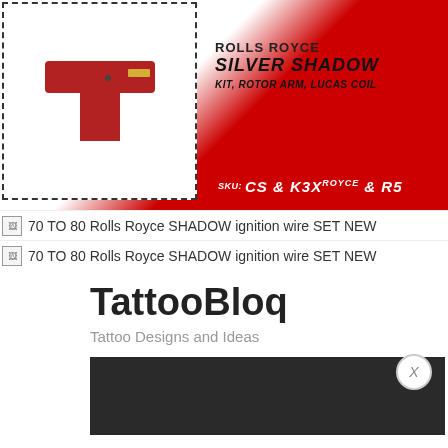[Figure (infographic): Advertisement banner for Rolls Royce Silver Shadow kit, rotor arm, Lucas coil. Shows a dashed box with a red T-shaped rotor arm part image on the left, text on upper right reading 'SILVER SHADOW / KIT, ROTOR ARM, LUCAS COIL', and a red SKU bar at bottom right reading 'SKU: CS & K3X ROYCE & R5'.]
70 TO 80 Rolls Royce SHADOW ignition wire SET NEW
70 TO 80 Rolls Royce SHADOW ignition wire SET NEW
TattooBloq
Tattoo Designs and Ideas
[Figure (other): Dark/black rectangular image placeholder bar]